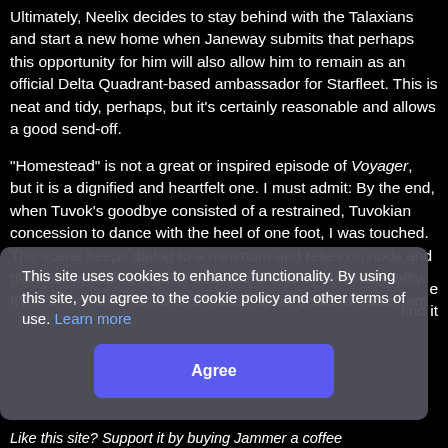Ultimately, Neelix decides to stay behind with the Talaxians and start a new home when Janeway submits that perhaps this opportunity for him will also allow him to remain as an official Delta Quadrant-based ambassador for Starfleet. This is neat and tidy, perhaps, but it's certainly reasonable and allows a good send-off.
"Homestead" is not a great or inspired episode of Voyager, but it is a dignified and heartfelt one. I must admit: By the end, when Tuvok's goodbye consisted of a restrained, Tuvokian concession to dance with the heel of one foot, I was touched. The scene keeps dialog to a minimum and relies on nods and glances, providing a great example of less-is-more mentality. It's one moment that almost makes up for years of redundant ... find it
This site uses cookies to enhance functionality. By using this site, you agree to the cookie policy and other terms of use. Learn more
Agree
Like this site? Support it by buying Jammer a coffee